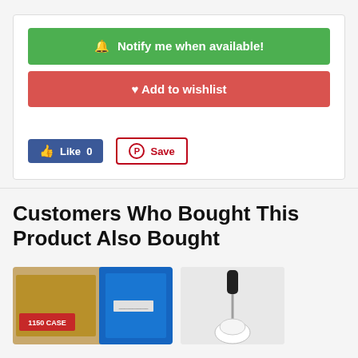[Figure (screenshot): Green 'Notify me when available!' button and red 'Add to wishlist' button inside a white card, with Facebook Like and Pinterest Save social buttons below]
Customers Who Bought This Product Also Bought
[Figure (photo): Product thumbnail showing a '1150 CASE' box and a blue plastic case side by side]
[Figure (photo): Product thumbnail showing a tool with a black handle against a light background]